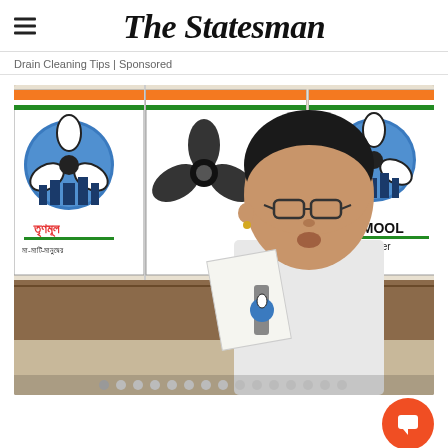The Statesman
Drain Cleaning Tips | Sponsored
[Figure (photo): Video screenshot showing a woman speaking at a podium in front of Trinamool Congress (TMC) party banners. The banners show the TMC flower logo with Bengali text and 'TRINAMOOL Maati Manusher' text. The woman is wearing glasses and a white outfit, holding papers. Slideshow dots are visible at the bottom of the image.]